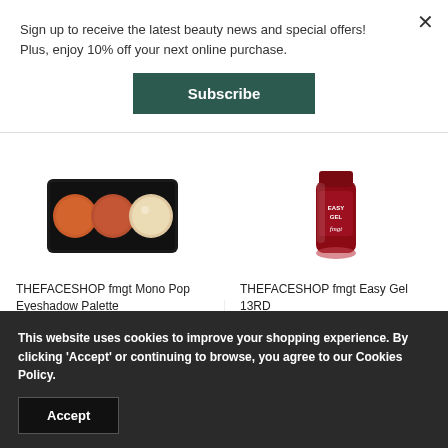Sign up to receive the latest beauty news and special offers! Plus, enjoy 10% off your next online purchase.
Subscribe
[Figure (photo): THEFACESHOP fmgt Mono Pop Eyeshadow Palette product image showing three circular eyeshadow pans in orange, terracotta, and champagne colors in a black palette]
THEFACESHOP fmgt Mono Pop Eyeshadow Palette
$33.00
[Figure (photo): THEFACESHOP fmgt Easy Gel 13RD nail polish product image showing a dark red nail gel bottle]
THEFACESHOP fmgt Easy Gel 13RD
$10.00
This website uses cookies to improve your shopping experience. By clicking 'Accept' or continuing to browse, you agree to our Cookies Policy.
Accept